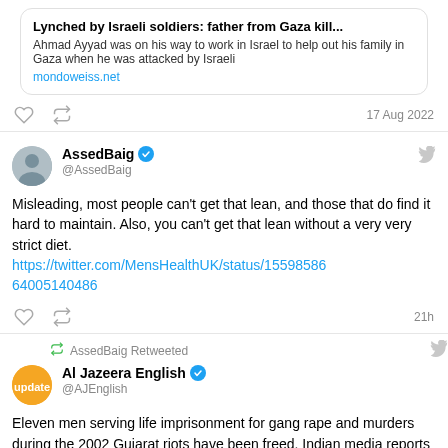[Figure (screenshot): Tweet card preview with bold title 'Lynched by Israeli soldiers: father from Gaza kill...' and body text about Ahmad Ayyad, with mondoweiss.net URL]
Ahmad Ayyad was on his way to work in Israel to help out his family in Gaza when he was attacked by Israeli
mondoweiss.net
17 Aug 2022
AssedBaig @AssedBaig
Misleading, most people can't get that lean, and those that do find it hard to maintain. Also, you can't get that lean without a very very strict diet. https://twitter.com/MensHealthUK/status/1559858664005140486
21h
AssedBaig Retweeted
Al Jazeera English @AJEnglish
Eleven men serving life imprisonment for gang rape and murders during the 2002 Gujarat riots have been freed. Indian media reports said aje.io/b6oyfn